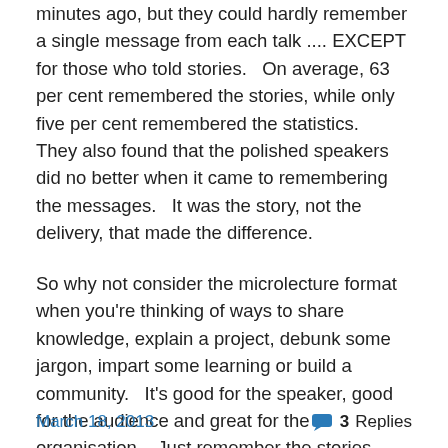minutes ago, but they could hardly remember a single message from each talk .... EXCEPT for those who told stories.   On average, 63 per cent remembered the stories, while only five per cent remembered the statistics.   They also found that the polished speakers did no better when it came to remembering the messages.   It was the story, not the delivery, that made the difference.
So why not consider the microlecture format when you're thinking of ways to share knowledge, explain a project, debunk some jargon, impart some learning or build a community.   It's good for the speaker, good for the audience and great for the organisation.   Just remember the stories.
March 18, 2013   3 Replies